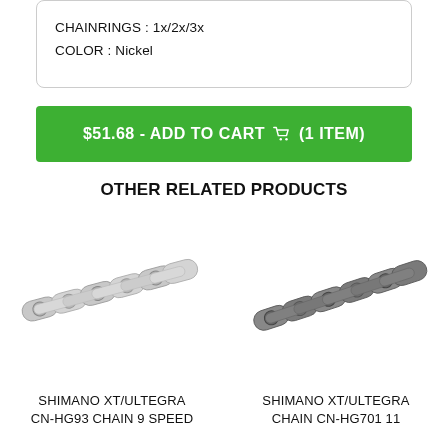CHAINRINGS : 1x/2x/3x
COLOR : Nickel
$51.68 - ADD TO CART (1 ITEM)
OTHER RELATED PRODUCTS
[Figure (photo): Shimano XT/Ultegra CN-HG93 Chain 9 Speed - silver bicycle chain close-up]
SHIMANO XT/ULTEGRA CN-HG93 CHAIN 9 SPEED
[Figure (photo): Shimano XT/Ultegra Chain CN-HG701 11 Speed - dark/grey bicycle chain close-up]
SHIMANO XT/ULTEGRA CHAIN CN-HG701 11